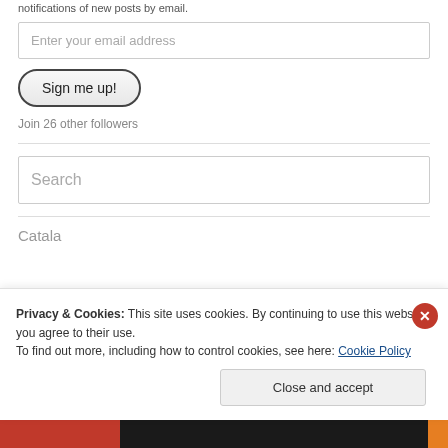notifications of new posts by email.
Enter your email address
Sign me up!
Join 26 other followers
Search
Privacy & Cookies: This site uses cookies. By continuing to use this website, you agree to their use. To find out more, including how to control cookies, see here: Cookie Policy
Close and accept